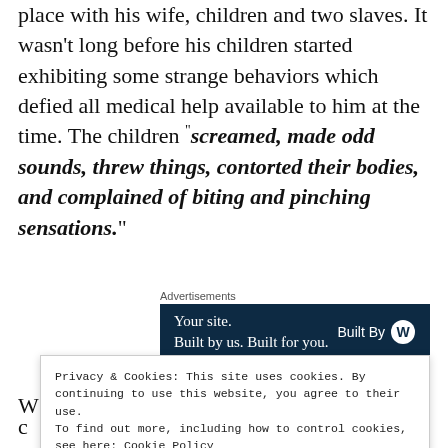place with his wife, children and two slaves. It wasn't long before his children started exhibiting some strange behaviors which defied all medical help available to him at the time. The children "screamed, made odd sounds, threw things, contorted their bodies, and complained of biting and pinching sensations."
[Figure (screenshot): Advertisement banner with dark navy background reading 'Your site. Built by us. Built for you.' with 'Built By' and WordPress logo on the right.]
Privacy & Cookies: This site uses cookies. By continuing to use this website, you agree to their use.
To find out more, including how to control cookies, see here: Cookie Policy
Close and accept